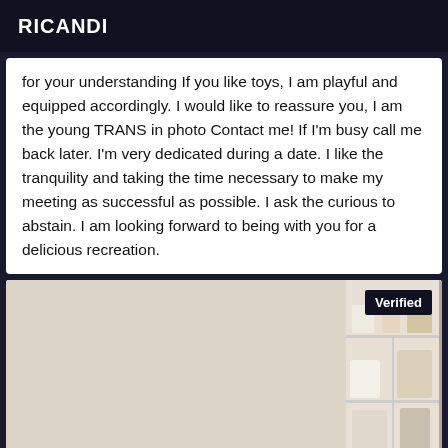RICANDI
for your understanding If you like toys, I am playful and equipped accordingly. I would like to reassure you, I am the young TRANS in photo Contact me! If I'm busy call me back later. I'm very dedicated during a date. I like the tranquility and taking the time necessary to make my meeting as successful as possible. I ask the curious to abstain. I am looking forward to being with you for a delicious recreation.
[Figure (photo): Photo of a young woman with dark hair indoors, with a white shelf unit and decorative items visible in the background. A 'Verified' badge appears in the top right corner of the image.]